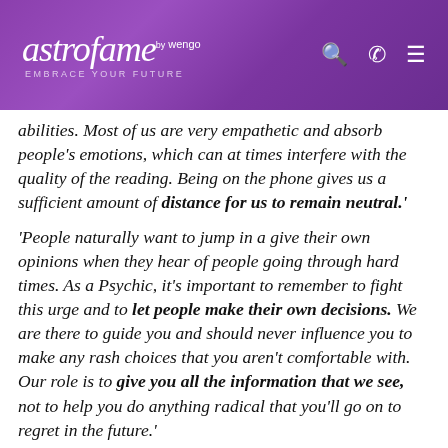astrofame by wengo — EMBRACE YOUR FUTURE
abilities. Most of us are very empathetic and absorb people's emotions, which can at times interfere with the quality of the reading. Being on the phone gives us a sufficient amount of distance for us to remain neutral.'
'People naturally want to jump in a give their own opinions when they hear of people going through hard times. As a Psychic, it's important to remember to fight this urge and to let people make their own decisions. We are there to guide you and should never influence you to make any rash choices that you aren't comfortable with. Our role is to give you all the information that we see, not to help you do anything radical that you'll go on to regret in the future.'